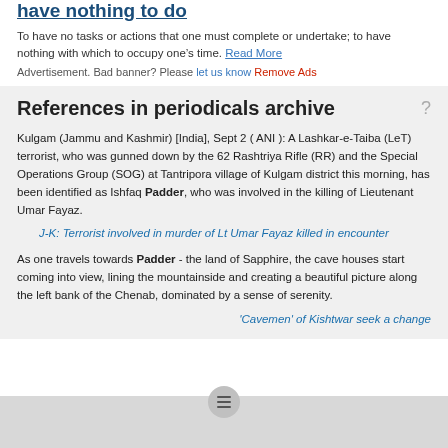have nothing to do
To have no tasks or actions that one must complete or undertake; to have nothing with which to occupy one’s time. Read More
Advertisement. Bad banner? Please let us know Remove Ads
References in periodicals archive
Kulgam (Jammu and Kashmir) [India], Sept 2 ( ANI ): A Lashkar-e-Taiba (LeT) terrorist, who was gunned down by the 62 Rashtriya Rifle (RR) and the Special Operations Group (SOG) at Tantripora village of Kulgam district this morning, has been identified as Ishfaq Padder, who was involved in the killing of Lieutenant Umar Fayaz.
J-K: Terrorist involved in murder of Lt Umar Fayaz killed in encounter
As one travels towards Padder - the land of Sapphire, the cave houses start coming into view, lining the mountainside and creating a beautiful picture along the left bank of the Chenab, dominated by a sense of serenity.
'Cavemen' of Kishtwar seek a change